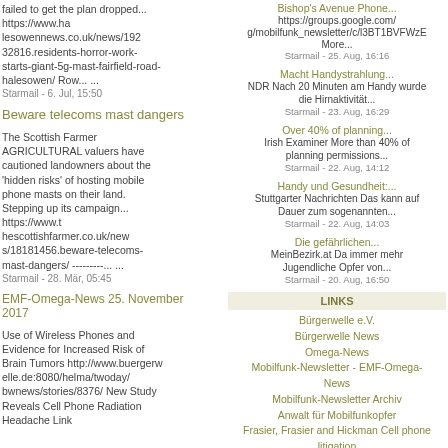failed to get the plan dropped... https://www.halesowennews.co.uk/news/19232816.residents-horror-work-starts-giant-5g-mast-fairfield-road-halesowen/ Row... ...
Starmail - 6. Jul, 15:50
Beware telecoms mast dangers
The Scottish Farmer AGRICULTURAL valuers have cautioned landowners about the 'hidden risks' of hosting mobile phone masts on their land. Stepping up its campaign... https://www.thescottishfarmer.co.uk/news/18181456.beware-telecoms-mast-dangers/ ---------... ...
Starmail - 28. Mär, 05:45
EMF-Omega-News 25. November 2017
Use of Wireless Phones and Evidence for Increased Risk of Brain Tumors http://www.buergerwelle.de:8080/helma/twoday/bwnews/stories/8376/ New Study Reveals Cell Phone Radiation Headache Link
Bishop's Avenue Phone... https://groups.google.com/g/mobilfunk_newsletter/c/l3BT1BVFWzE More...
Starmail - 25. Aug, 16:16
Macht Handystrahlung... NDR Nach 20 Minuten am Handy wurde die Hirnaktivität...
Starmail - 23. Aug, 16:29
Over 40% of planning... Irish Examiner More than 40% of planning permissions...
Starmail - 22. Aug, 14:12
Handy und Gesundheit:... Stuttgarter Nachrichten Das kann auf Dauer zum sogenannten...
Starmail - 22. Aug, 14:03
Die gefährlichen... MeinBezirk.at Da immer mehr Jugendliche Opfer von...
Starmail - 20. Aug, 16:50
LINKS
Bürgerwelle e.V.
Bürgerwelle News
Omega-News
Mobilfunk-Newsletter - EMF-Omega-News
Mobilfunk-Newsletter Archiv
Anwalt für Mobilfunkopfer
Frasier, Frasier and Hickman Cell phone litigation
Strahlung-gratis...nein Danke!